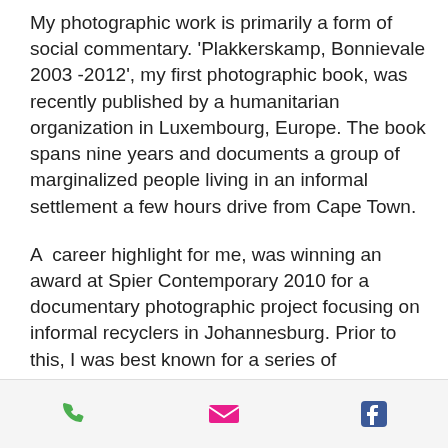My photographic work is primarily a form of social commentary. 'Plakkerskamp, Bonnievale 2003 -2012', my first photographic book, was recently published by a humanitarian organization in Luxembourg, Europe. The book spans nine years and documents a group of marginalized people living in an informal settlement a few hours drive from Cape Town.
A  career highlight for me, was winning an award at Spier Contemporary 2010 for a documentary photographic project focusing on informal recyclers in Johannesburg. Prior to this, I was best known for a series of expressionist, hand-painted photographs of township scenes in Southern Africa which were exhibited at galleries in Germany, the Netherlands and at “Photo
[Figure (other): Mobile app bottom navigation bar with phone, email, and Facebook icons]